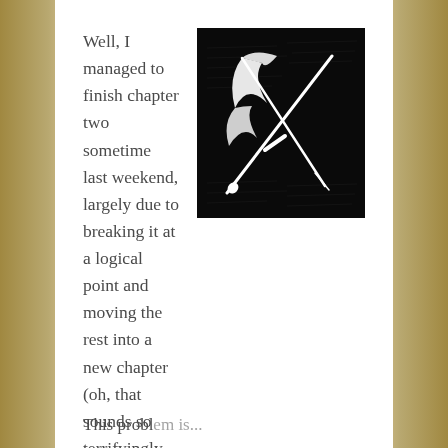Well, I managed to finish chapter two sometime last weekend, largely due to breaking it at a logical point and moving the rest into a new chapter (oh, that sounds so terrifyingly familiar, please don't do an IPaB on me). So I'm now halfway through chapter three during this week's Weekend Writing Warriors, Snippet Sunday and Rainbow Snippets.
[Figure (illustration): Black square image with white crossed quill pen and sword/dagger illustration on a dark textured background with handwriting pattern]
This problem is...